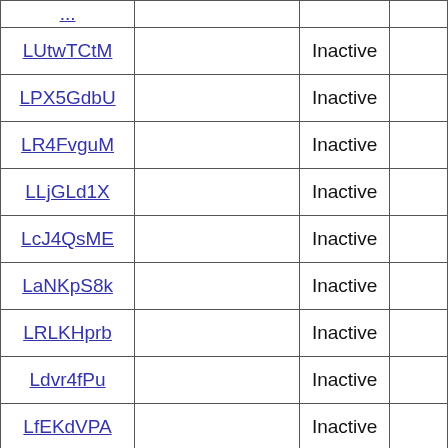| ... |  |  |  |
| LUtwTCtM |  | Inactive |  |
| LPX5GdbU |  | Inactive |  |
| LR4FvguM |  | Inactive |  |
| LLjGLd1X |  | Inactive |  |
| LcJ4QsME |  | Inactive |  |
| LaNKpS8k |  | Inactive |  |
| LRLKHprb |  | Inactive |  |
| Ldvr4fPu |  | Inactive |  |
| LfEKdVPA |  | Inactive |  |
| LfujeLgR |  | Inactive |  |
| ... |  |  |  |